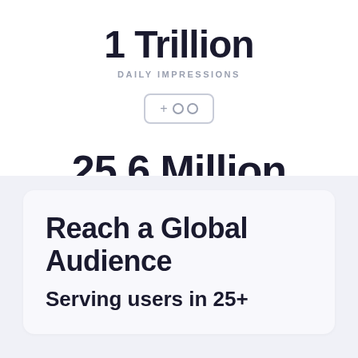1 Trillion
DAILY IMPRESSIONS
[Figure (other): A rounded rectangle icon containing a plus sign and two circles side by side]
25.6 Million
PLAYERS ONLINE
Reach a Global Audience
Serving users in 25+